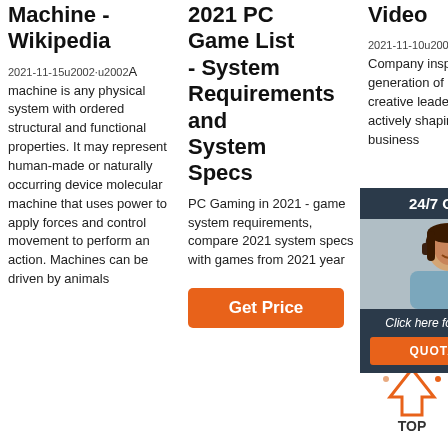Machine - Wikipedia
2021-11-15u2002·u2002A machine is any physical system with ordered structural and functional properties. It may represent human-made or naturally occurring device molecular machine that uses power to apply forces and control movement to perform an action. Machines can be driven by animals
2021 PC Game List - System Requirements and System Specs
PC Gaming in 2021 - game system requirements, compare 2021 system specs with games from 2021 year
[Figure (other): Orange Get Price button]
Video
2021-11-10u2002·u2002Fast Company inspires a new generation of innovative and creative leaders who are actively shaping the future of business
[Figure (other): Chat widget with 24/7 Online header, customer service photo, Click here for free chat text, and QUOTATION button]
[Figure (other): TOP arrow logo in orange and pink dots]
[Figure (other): Orange Get button on right side]